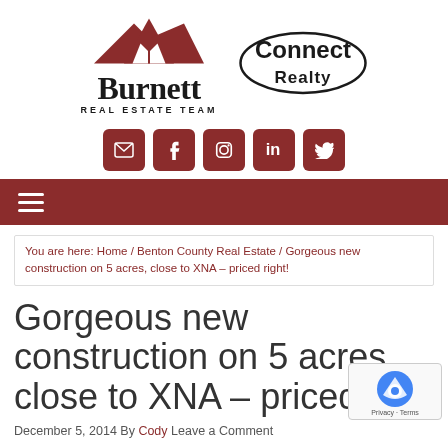[Figure (logo): Burnett Real Estate Team logo with red roof/chevron graphic and Connect Realty logo with oval border]
[Figure (other): Row of social media icon buttons (email, Facebook, Instagram, LinkedIn, Twitter) in dark red rounded squares]
[Figure (other): Dark red navigation bar with hamburger menu icon]
You are here: Home / Benton County Real Estate / Gorgeous new construction on 5 acres, close to XNA – priced right!
Gorgeous new construction on 5 acres, close to XNA – priced right!
December 5, 2014 By Cody Leave a Comment